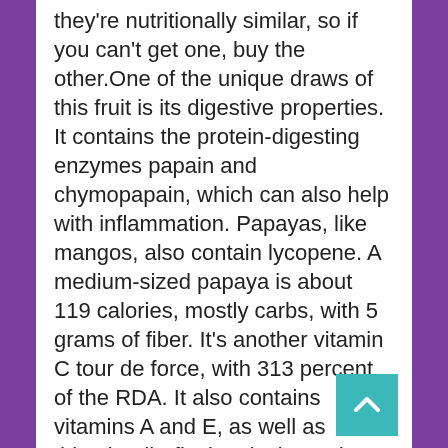they're nutritionally similar, so if you can't get one, buy the other.One of the unique draws of this fruit is its digestive properties. It contains the protein-digesting enzymes papain and chymopapain, which can also help with inflammation. Papayas, like mangos, also contain lycopene. A medium-sized papaya is about 119 calories, mostly carbs, with 5 grams of fiber. It's another vitamin C tour de force, with 313 percent of the RDA. It also contains vitamins A and E, as well as thiamin, riboflavin, niacin, and pantothenic acid. It's yet another great source of electrolytes, with calcium, iron, magnesium, lots of potassium, and selenium.

The easiest way to serve a papaya is like a melon. Pick one with red-orange